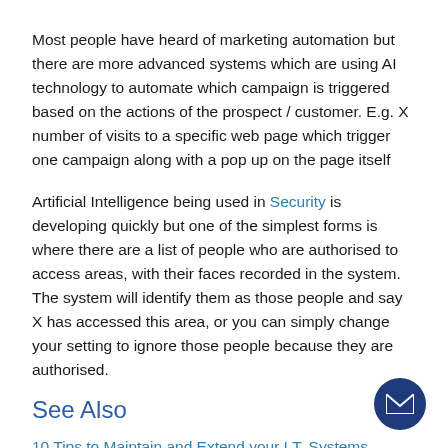Most people have heard of marketing automation but there are more advanced systems which are using AI technology to automate which campaign is triggered based on the actions of the prospect / customer. E.g. X number of visits to a specific web page which trigger one campaign along with a pop up on the page itself
Artificial Intelligence being used in Security is developing quickly but one of the simplest forms is where there are a list of people who are authorised to access areas, with their faces recorded in the system. The system will identify them as those people and say X has accessed this area, or you can simply change your setting to ignore those people because they are authorised.
See Also
10 Tips to Maintain and Extend your I.T. Systems
Migrating from the Public Cloud to a Private Cloud